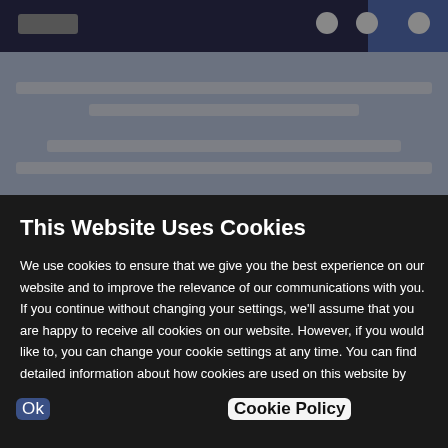[Figure (screenshot): Blurred website background with dark top navigation bar and grey blurred content area]
This Website Uses Cookies
We use cookies to ensure that we give you the best experience on our website and to improve the relevance of our communications with you. If you continue without changing your settings, we'll assume that you are happy to receive all cookies on our website. However, if you would like to, you can change your cookie settings at any time. You can find detailed information about how cookies are used on this website by clicking Cookie Policy.
Ok
Cookie Policy